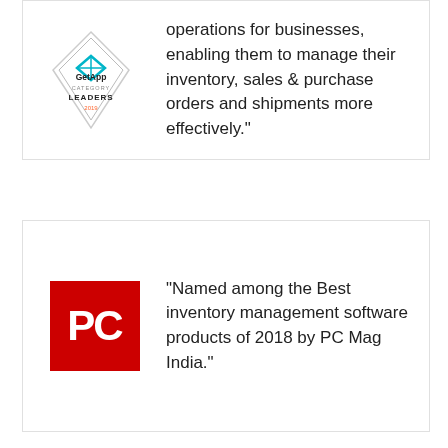[Figure (logo): GetApp Category Leaders 2019 badge - diamond/hexagon shaped badge with GetApp logo]
operations for businesses, enabling them to manage their inventory, sales & purchase orders and shipments more effectively."
[Figure (logo): PC Magazine logo - red square with white PC letters]
"Named among the Best inventory management software products of 2018 by PC Mag India."